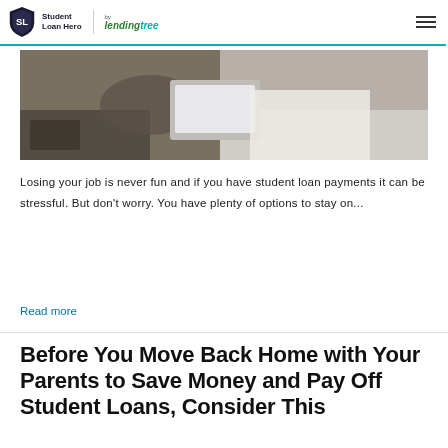Student Loan Hero | LendingTree
[Figure (photo): Person sitting on a bed working on a laptop computer]
Losing your job is never fun and if you have student loan payments it can be stressful. But don't worry. You have plenty of options to stay on...
Read more
Before You Move Back Home with Your Parents to Save Money and Pay Off Student Loans, Consider This